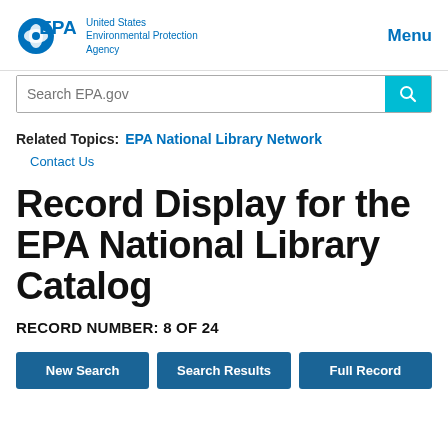EPA — United States Environmental Protection Agency | Menu
Search EPA.gov
Related Topics: EPA National Library Network
Contact Us
Record Display for the EPA National Library Catalog
RECORD NUMBER: 8 OF 24
New Search | Search Results | Full Record